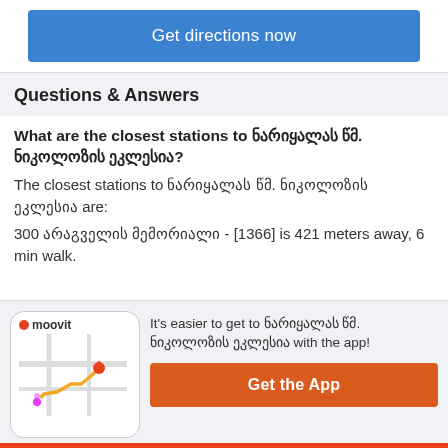Get directions now
Questions & Answers
What are the closest stations to ნარიყალას წმ. ნიკოლოზის ეკლესია?
The closest stations to ნარიყალას წმ. ნიკოლოზის ეკლესია are:
300 არაგველის მემორიალი - [1366] is 421 meters away, 6 min walk.
It's easier to get to ნარიყალას წმ. ნიკოლოზის ეკლესია with the app!
Get the App